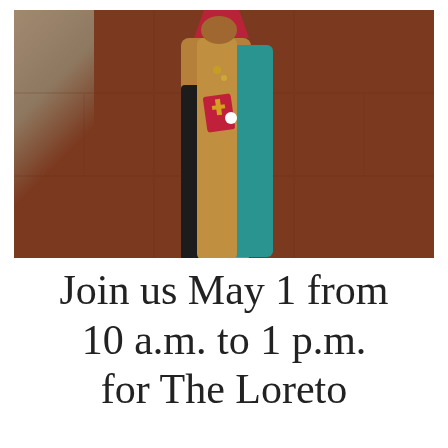[Figure (photo): Close-up photograph of a small painted wooden figurine (a nun or religious figure) with a teal/green cloak, tan body, red heart and red book detail, on a reddish-brown tile background]
Join us May 1 from 10 a.m. to 1 p.m. for The Loreto